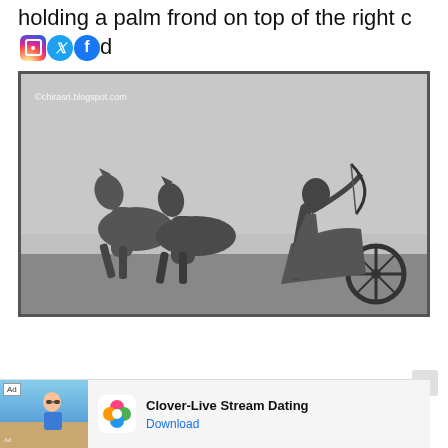holding a palm frond on top of the right corner [social icons: Instagram, Twitter, Facebook]
[Figure (photo): Black and white photograph of a classical sculpture showing horses pulling a chariot with a figure holding a bow, watermark reads ©chirasri.blogspot.com]
[Figure (infographic): Advertisement banner: Clover-Live Stream Dating app ad with beach photo, app icon, title and Download link]